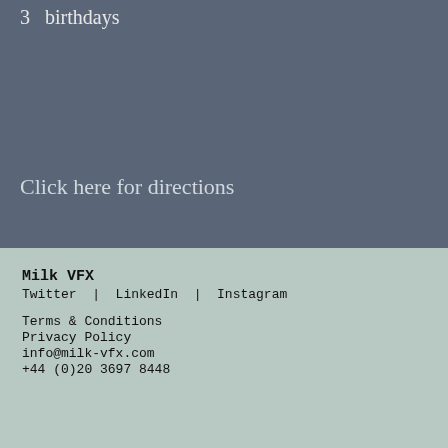3   birthdays
Click here for directions
Milk VFX
Twitter  |  LinkedIn  |  Instagram
Terms & Conditions
Privacy Policy
info@milk-vfx.com
+44 (0)20 3697 8448